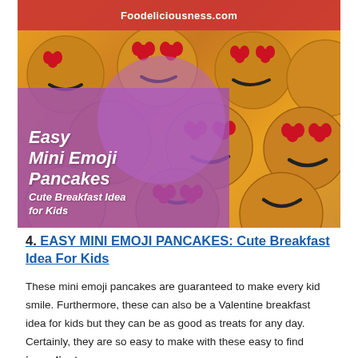[Figure (photo): Photo of multiple small round emoji pancakes decorated with red heart-shaped candies for eyes and black smiling mouths, arranged on a white surface. Overlaid text reads 'Easy Mini Emoji Pancakes - Cute Breakfast Idea for Kids' in white italic font on a purple background. A red banner at top shows 'Foodeliciousness.com'.]
4. EASY MINI EMOJI PANCAKES: Cute Breakfast Idea For Kids
These mini emoji pancakes are guaranteed to make every kid smile. Furthermore, these can also be a Valentine breakfast idea for kids but they can be as good as treats for any day. Certainly, they are so easy to make with these easy to find ingredients: